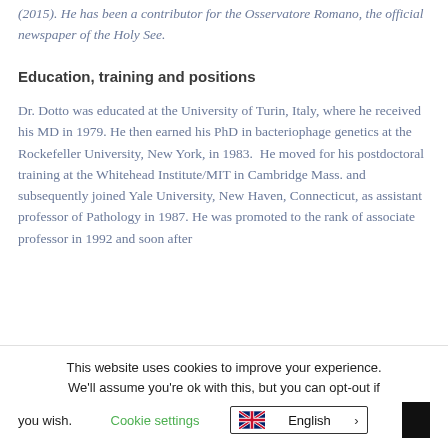(2015). He has been a contributor for the Osservatore Romano, the official newspaper of the Holy See.
Education, training and positions
Dr. Dotto was educated at the University of Turin, Italy, where he received his MD in 1979. He then earned his PhD in bacteriophage genetics at the Rockefeller University, New York, in 1983.  He moved for his postdoctoral training at the Whitehead Institute/MIT in Cambridge Mass. and subsequently joined Yale University, New Haven, Connecticut, as assistant professor of Pathology in 1987. He was promoted to the rank of associate professor in 1992 and soon after
This website uses cookies to improve your experience. We'll assume you're ok with this, but you can opt-out if you wish. Cookie settings | English